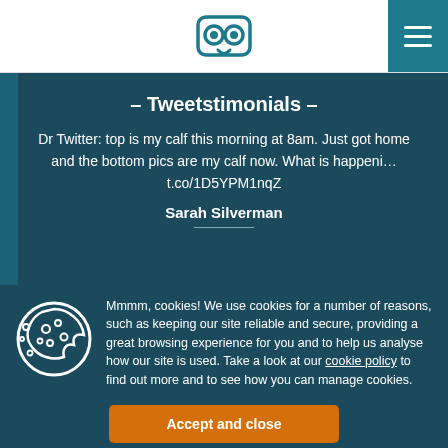Owl logo and navigation menu
– Tweetstimonials –
Dr Twitter: top is my calf this morning at 8am. Just got home and the bottom pics are my calf now. What is happeni… t.co/1D5YPM1nqZ
Sarah Silverman
Mmmm, cookies! We use cookies for a number of reasons, such as keeping our site reliable and secure, providing a great browsing experience for you and to help us analyse how our site is used. Take a look at our cookie policy to find out more and to see how you can manage cookies.
Accept and close